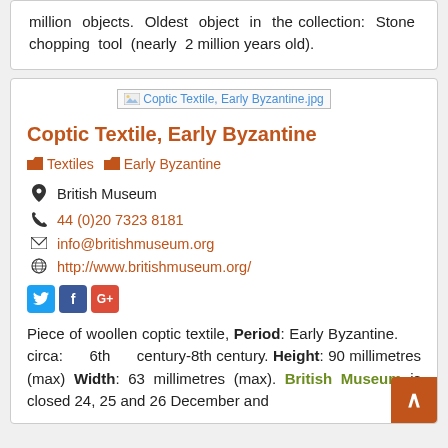million objects. Oldest object in the collection: Stone chopping tool (nearly 2 million years old).
[Figure (photo): Coptic Textile, Early Byzantine.jpg - image placeholder]
Coptic Textile, Early Byzantine
Textiles  Early Byzantine
British Museum
44 (0)20 7323 8181
info@britishmuseum.org
http://www.britishmuseum.org/
Piece of woollen coptic textile, Period: Early Byzantine. circa: 6th century-8th century. Height: 90 millimetres (max) Width: 63 millimetres (max). British Museum is closed 24, 25 and 26 December and